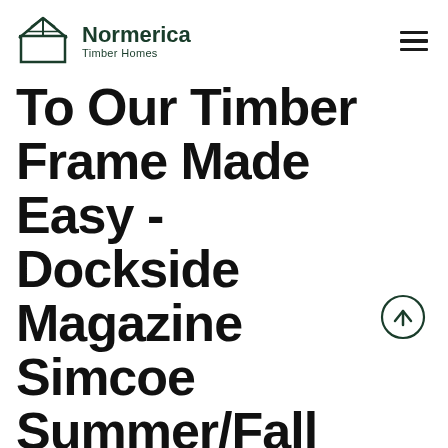Normerica Timber Homes
To Our Timber Frame Made Easy - Dockside Magazine Simcoe Summer/Fall 2021
Summer/Fall 2021 Simcoe Dockside Magazine highlights Normerica makes timber frame easy with unmatched beauty featuring a customized Redstone house plan.